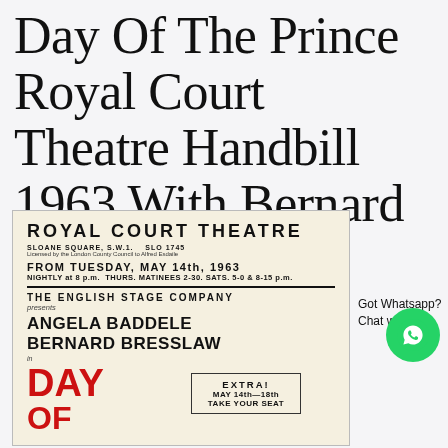Day Of The Prince Royal Court Theatre Handbill 1963 With Bernard Bresslaw
[Figure (photo): Scan of Royal Court Theatre handbill from 1963. Shows 'ROYAL COURT THEATRE, SLOANE SQUARE, S.W.1. SLO 1745, Licensed by the London County Council to Alfred Esdaile. FROM TUESDAY, MAY 14th, 1963. NIGHTLY at 8 p.m. THURS. MATINEES 2-30. SATS. 5-0 & 8-15 p.m. THE ENGLISH STAGE COMPANY presents ANGELA BADDELE[Y] BERNARD BRESSLAW in [show title] DAY OF... with EXTRA! MAY 14th-18th TAKE YOUR SEAT box.']
Got Whatsapp? Chat with us